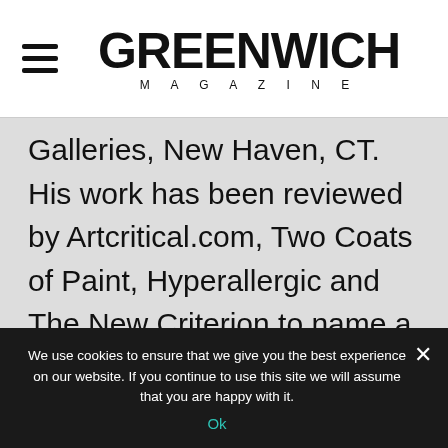GREENWICH MAGAZINE
Galleries, New Haven, CT. His work has been reviewed by Artcritical.com, Two Coats of Paint, Hyperallergic and The New Criterion to name a few. Stephen Maine earned a BFA (Painting), Indiana University, Bloomington, IN and an MFA (Visual Art), Vermont College of Fine
We use cookies to ensure that we give you the best experience on our website. If you continue to use this site we will assume that you are happy with it.
Ok